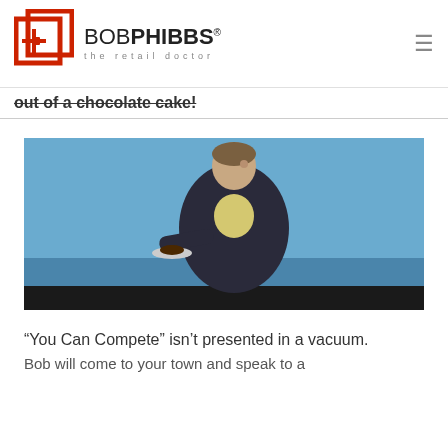BOB PHIBBS® the retail doctor
out of a chocolate cake!
[Figure (photo): A man in a dark blazer and yellow shirt on stage holding a plate, gesturing toward it, against a blue background.]
“You Can Compete” isn’t presented in a vacuum.